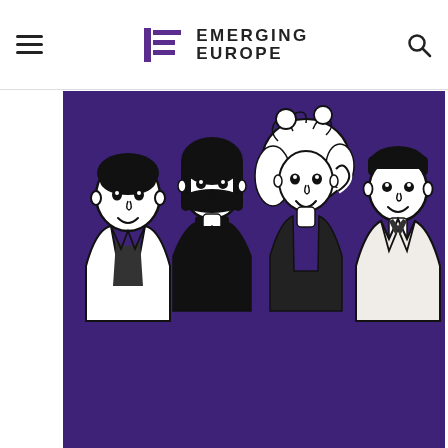EMERGING EUROPE
[Figure (illustration): Four cartoon-style illustrated young people standing against a purple/dark violet background. From left to right: a young man in a white jacket, a young woman with a bob haircut in dark overalls, a young woman with curly light hair touching her face, and a young man in a light jacket. The illustration is in black and white line art on the purple background.]
We use cookies to offer you a better browsing experience, analyze site traffic, personalize content, and serve targeted advertisements. Read about how we use cookies and how you can control them by clicking "Privacy Preferences". If you continue to use this site, you consent to our use of cookies. More...
digital transformation with automation